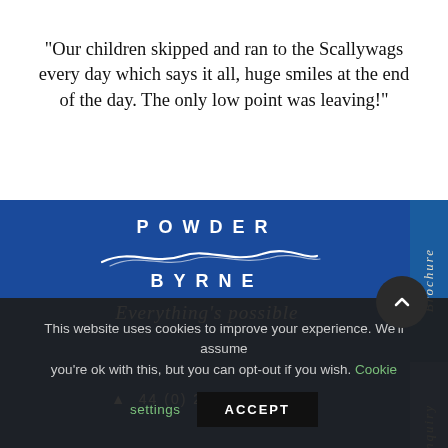“Our children skipped and ran to the Scallywags every day which says it all, huge smiles at the end of the day. The only low point was leaving!”
[Figure (logo): Powder Byrne logo with wave graphic and tagline 'Everything's possible' on blue background]
Brochure
Enquiry
44 (0) 20 8246 5380
This website uses cookies to improve your experience. We'll assume you're ok with this, but you can opt-out if you wish. Cookie settings ACCEPT